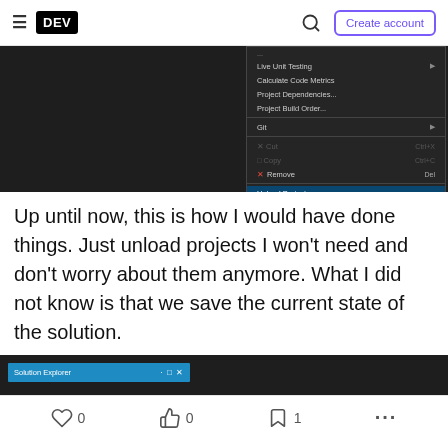DEV — Create account
[Figure (screenshot): Visual Studio context menu on a dark background showing options including Live Unit Testing, Calculate Code Metrics, Project Dependencies, Project Build Order, Git, Cut, Copy, Remove, Unload Project (highlighted), Load Direct Dependencies of Project, Load Entire Dependency Tree of Project, Properties with Alt+Enter shortcut]
Up until now, this is how I would have done things. Just unload projects I won't need and don't worry about them anymore. What I did not know is that we save the current state of the solution.
[Figure (screenshot): Partial screenshot showing Solution Explorer panel header in Visual Studio with blue title bar]
0 likes  0 reactions  1 bookmark  more options